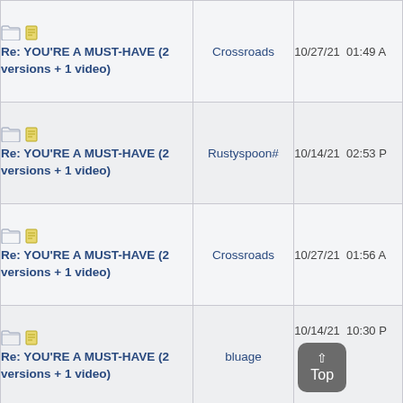| Topic | Author | Date |
| --- | --- | --- |
| Re: YOU'RE A MUST-HAVE (2 versions + 1 video) | Crossroads | 10/27/21  01:49 A |
| Re: YOU'RE A MUST-HAVE (2 versions + 1 video) | Rustyspoon# | 10/14/21  02:53 P |
| Re: YOU'RE A MUST-HAVE (2 versions + 1 video) | Crossroads | 10/27/21  01:56 A |
| Re: YOU'RE A MUST-HAVE (2 versions + 1 video) | bluage | 10/14/21  10:30 P |
| Re: YOU'RE |  |  |